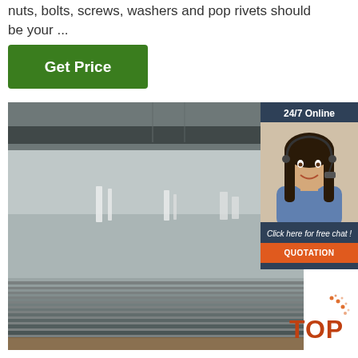nuts, bolts, screws, washers and pop rivets should be your ...
[Figure (other): Green 'Get Price' button]
[Figure (photo): Stacked aluminum/steel sheets in an industrial warehouse, showing reflective metallic surface]
[Figure (other): 24/7 Online chat widget with customer service representative photo, 'Click here for free chat!' text, and orange QUOTATION button]
[Figure (other): TOP badge with orange dots decoration in lower right corner]